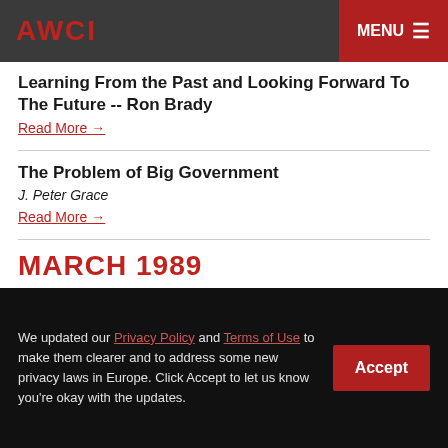AWCI  MENU
Learning From the Past and Looking Forward To The Future -- Ron Brady
Read More →
The Problem of Big Government
J. Peter Grace
Read More →
MARCH 1989
We updated our Privacy Policy and Terms of Use to make them clearer and to address some new privacy laws in Europe. Click Accept to let us know you're okay with the updates.